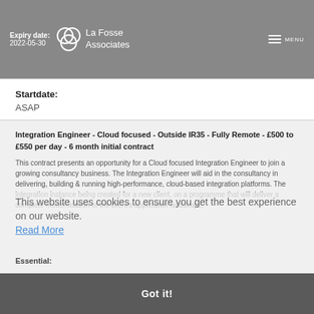Expiry date: La Fosse Associates
2022-05-30
Startdate:
ASAP
Integration Engineer - Cloud focused - Outside IR35 - Fully Remote - £500 to £550 per day - 6 month initial contract
This contract presents an opportunity for a Cloud focused Integration Engineer to join a growing consultancy business. The Integration Engineer will aid in the consultancy in delivering, building & running high-performance, cloud-based integration platforms. The integration instance being created for a new client, on a programme that will deliver a complete modernisation of the client's application landscape.
This website uses cookies to ensure you get the best experience on our website.
Read More
Got it!
Essential:
Analysing existing interfaces and building interface catalogues